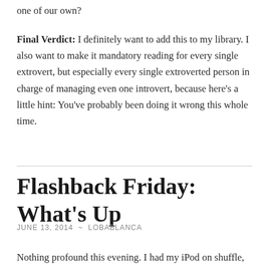one of our own?
Final Verdict: I definitely want to add this to my library. I also want to make it mandatory reading for every single extrovert, but especially every single extroverted person in charge of managing even one introvert, because here's a little hint: You've probably been doing it wrong this whole time.
Flashback Friday: What's Up
JUNE 13, 2014  ~  LOBABLANCA
Nothing profound this evening. I had my iPod on shuffle, some of my 90s era playlist, and one of the...